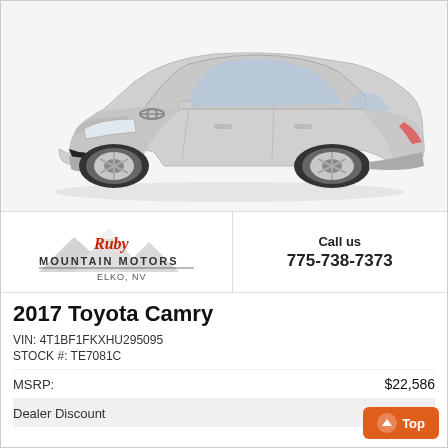[Figure (photo): Silver 2017 Toyota Camry sedan on white background, front three-quarter view]
[Figure (logo): Ruby Mountain Motors logo with mountain silhouette graphic, text reads MOUNTAIN MOTORS, Ruby in red script, ELKO, NV below]
Call us
775-738-7373
2017 Toyota Camry
VIN: 4T1BF1FKXHU295095
STOCK #: TE7081C
| MSRP: | $22,586 |
| Dealer Discount | ...91 |